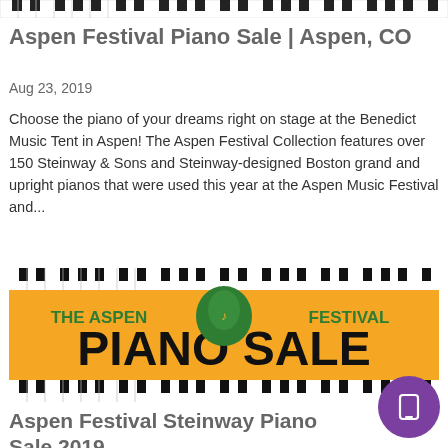[Figure (other): Piano keys image at top of page (partial/cropped strip)]
Aspen Festival Piano Sale | Aspen, CO
Aug 23, 2019
Choose the piano of your dreams right on stage at the Benedict Music Tent in Aspen! The Aspen Festival Collection features over 150 Steinway & Sons and Steinway-designed Boston grand and upright pianos that were used this year at the Aspen Music Festival and...
[Figure (illustration): The Aspen Festival Piano Sale banner showing piano keys at top and bottom, with orange/yellow background featuring green leaf logo, green text 'THE ASPEN FESTIVAL' and large bold black text 'PIANO SALE']
Aspen Festival Steinway Piano Sale 2019